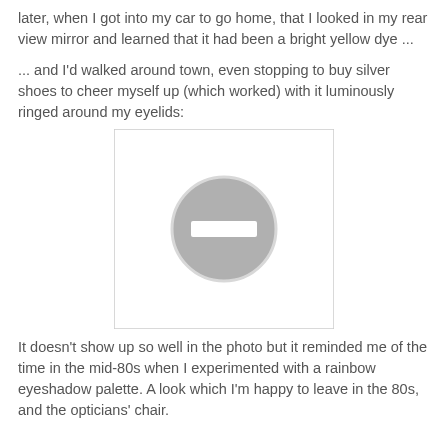later, when I got into my car to go home, that I looked in my rear view mirror and learned that it had been a bright yellow dye ...
... and I'd walked around town, even stopping to buy silver shoes to cheer myself up (which worked) with it luminously ringed around my eyelids:
[Figure (photo): A photograph placeholder showing a grey circle with a white rectangle (minus sign) in the center, indicating an unavailable or blocked image.]
It doesn't show up so well in the photo but it reminded me of the time in the mid-80s when I experimented with a rainbow eyeshadow palette. A look which I'm happy to leave in the 80s, and the opticians' chair.